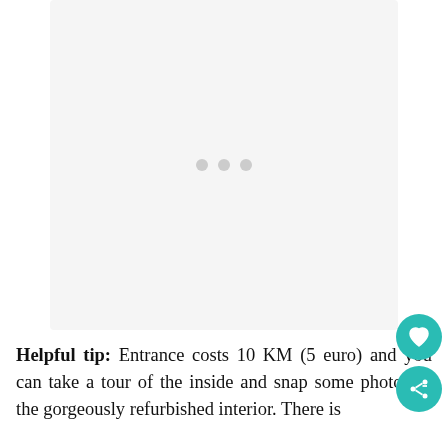[Figure (photo): Loading image placeholder with three grey dots in the center on a light grey background]
Helpful tip: Entrance costs 10 KM (5 euro) and you can take a tour of the inside and snap some photos of the gorgeously refurbished interior. There is